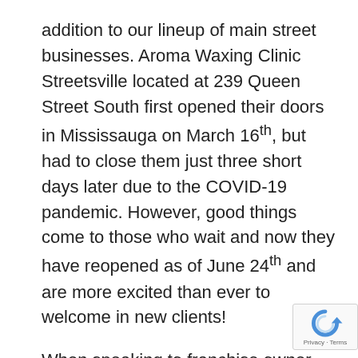addition to our lineup of main street businesses. Aroma Waxing Clinic Streetsville located at 239 Queen Street South first opened their doors in Mississauga on March 16th, but had to close them just three short days later due to the COVID-19 pandemic. However, good things come to those who wait and now they have reopened as of June 24th and are more excited than ever to welcome in new clients!
When speaking to franchise owner Ingrid Rosati about why she chose Streetsville she highlights that she was very focused on making sure that they weren't just opening another business. Ingrid is really striving for Aroma Waxing Clinic to become part of the community, one that would allow them to build and service a loyal local customer base. She strongly felt that opening a location in Streetsville was the right choice not only for
[Figure (other): reCAPTCHA badge with Privacy and Terms text]